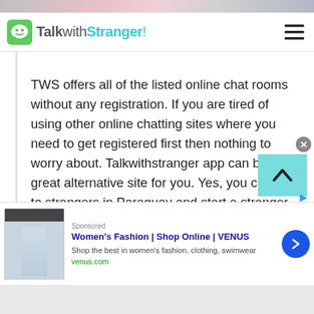[Figure (screenshot): Top decorative image strip with colorful partial photo]
TalkwithStranger!
TWS offers all of the listed online chat rooms without any registration. If you are tired of using other online chatting sites where you need to get registered first then nothing to worry about. Talkwithstranger app can be a great alternative site for you. Yes, you can talk to strangers in Paraguay and start a stranger chat with no login chat rooms. TWS specifically designed their no login chat rooms for users who have a busy life schedule. In fact, we all are busy and don't have enough time to fill up the long registration process.
[Figure (screenshot): Advertisement for Women's Fashion | Shop Online | VENUS. Shop the best in women's fashion, clothing, swimwear. venus.com]